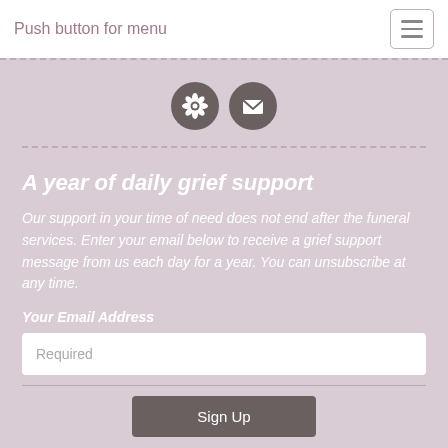Push button for menu
[Figure (illustration): Two circular dark gray icons: a flower/settings icon and an envelope/mail icon, centered on a dusty pink background]
A year of daily grief support
Our support in your time of need does not end after the funeral services. Enter your email below to receive a grief support message from us each day for a year. You can unsubscribe at any time.
Your Email Address
Required
Sign Up